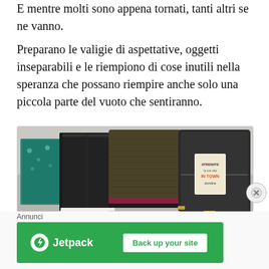E mentre molti sono appena tornati, tanti altri se ne vanno.
Preparano le valigie di aspettative, oggetti inseparabili e le riempiono di cose inutili nella speranza che possano riempire anche solo una piccola parte del vuoto che sentiranno.
[Figure (photo): Photo of packed luggage laid out on a bed: folded clothes including dark pants, a teal/floral item, a dark olive knit sweater, a dark backpack with a small decorative book/card.]
Annunci
[Figure (screenshot): Jetpack advertisement banner with green background. Shows Jetpack logo (lightning bolt icon in white circle) and brand name 'Jetpack' in white, and a white button with green text 'Back up your site'.]